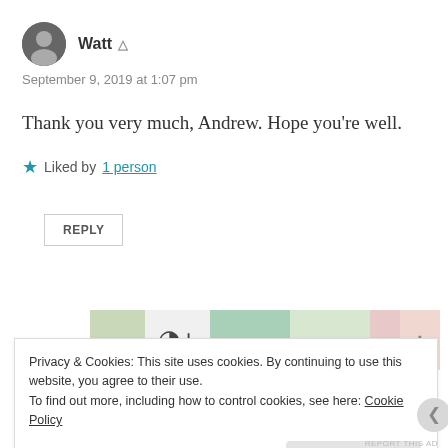Watt
September 9, 2019 at 1:07 pm
Thank you very much, Andrew. Hope you're well.
Liked by 1 person
REPLY
[Figure (other): Advertisement banner showing colorful card/product images]
REPORT THIS AD
Privacy & Cookies: This site uses cookies. By continuing to use this website, you agree to their use.
To find out more, including how to control cookies, see here: Cookie Policy
Close and accept
REPORT THIS AD